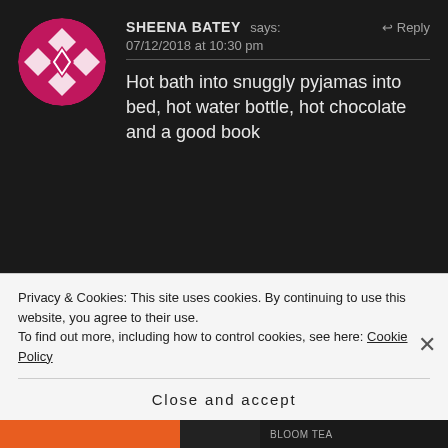[Figure (illustration): Circular avatar with pink/magenta geometric diamond pattern on dark background for user Sheena Batey]
SHEENA BATEY says:
↩ Reply
07/12/2018 at 10:30 pm
Hot bath into snuggly pyjamas into bed, hot water bottle, hot chocolate and a good book
[Figure (illustration): Circular avatar with teal/green geometric diamond pattern on dark background for user Eileen Sumner]
EILEEN SUMNER says:
↩ Reply
07/12/2018 at 10:49 pm
Privacy & Cookies: This site uses cookies. By continuing to use this website, you agree to their use.
To find out more, including how to control cookies, see here: Cookie Policy
Close and accept